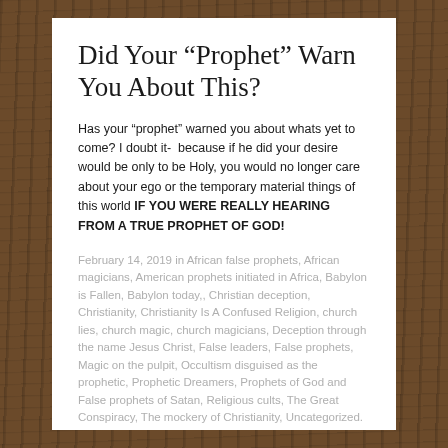Did Your “Prophet” Warn You About This?
Has your “prophet” warned you about whats yet to come? I doubt it-  because if he did your desire would be only to be Holy, you would no longer care about your ego or the temporary material things of this world IF YOU WERE REALLY HEARING FROM A TRUE PROPHET OF GOD!
February 14, 2019 in African false prophets, African magicians, American prophets initiated in Africa, Babylon is Fallen, Babylon today,, Christian deception, Christianity, Christianity Is A Confused Religion, church lies, church magic, church magicians, Deception through the name Jesus Christ, False leaders, False prophets, Magic on the pulpit, Occultism disguised as the prophetic, Prophetic Dreamers, Prophets of God and False prophets of Satan, Religious cults, The Great Conspiracy, The mockery of Christianity, Uncategorized.